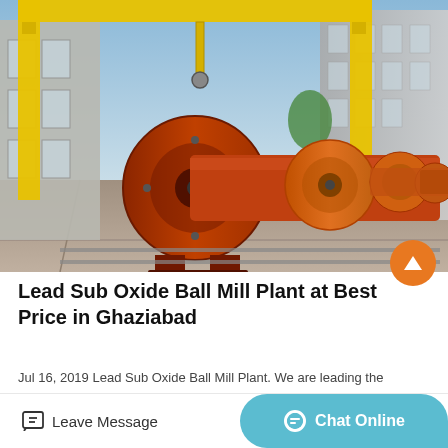[Figure (photo): Industrial outdoor yard showing orange ball mill machines lined up under a large yellow gantry crane, with factory buildings in background and blue sky.]
Lead Sub Oxide Ball Mill Plant at Best Price in Ghaziabad
Jul 16, 2019 Lead Sub Oxide Ball Mill Plant. We are leading the
Leave Message
Chat Online